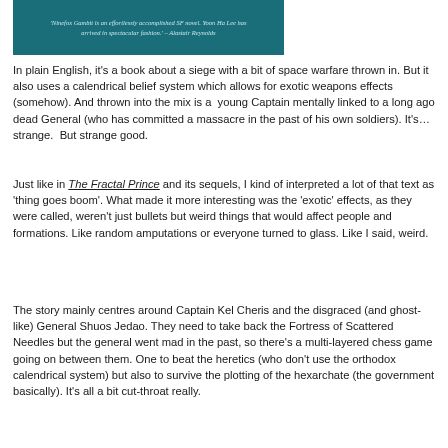[Figure (illustration): Book cover with teal/dark background and italic quote text reading: 'Ninefox Gambit is an effortlessly accomplished SF novel. Yoon Ha Lee has arrived in spectacular fashion.' – Alastair Reynolds]
In plain English, it's a book about a siege with a bit of space warfare thrown in. But it also uses a calendrical belief system which allows for exotic weapons effects (somehow). And thrown into the mix is a young Captain mentally linked to a long ago dead General (who has committed a massacre in the past of his own soldiers). It's…strange. But strange good.
Just like in The Fractal Prince and its sequels, I kind of interpreted a lot of that text as 'thing goes boom'. What made it more interesting was the 'exotic' effects, as they were called, weren't just bullets but weird things that would affect people and formations. Like random amputations or everyone turned to glass. Like I said, weird.
The story mainly centres around Captain Kel Cheris and the disgraced (and ghost-like) General Shuos Jedao. They need to take back the Fortress of Scattered Needles but the general went mad in the past, so there's a multi-layered chess game going on between them. One to beat the heretics (who don't use the orthodox calendrical system) but also to survive the plotting of the hexarchate (the government basically). It's all a bit cut-throat really.